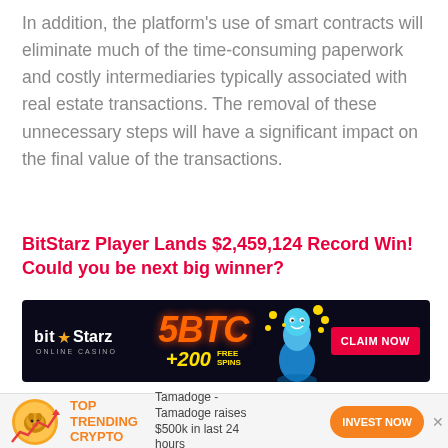In addition, the platform's use of smart contracts will eliminate much of the time-consuming paperwork and costly intermediaries typically associated with real estate transactions. The removal of these unnecessary steps will have a significant impact on the final value of the transactions.
BitStarz Player Lands $2,459,124 Record Win! Could you be next big winner?
[Figure (illustration): BitStarz Online Casino banner advertisement showing '5BTC +200 FREE SPINS' offer with a genie character and 'CLAIM NOW' button on dark background]
[Figure (illustration): Bottom promotional strip: crypto coin icon with chart, 'TOP TRENDING CRYPTO' label in orange, 'Tamadoge - Tamadoge raises $500k in last 24 hours' text, and orange 'INVEST NOW' button]